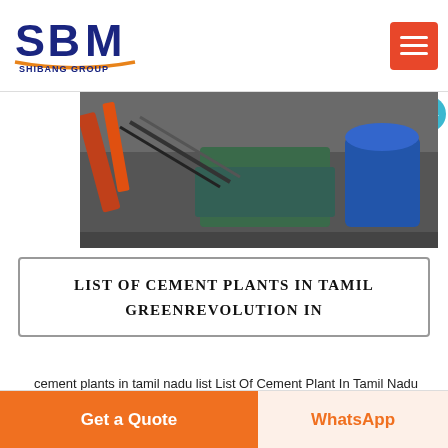[Figure (logo): SBM Shibang Group logo with blue letters and orange underline, text SHIBANG GROUP below]
[Figure (photo): Industrial machinery photo showing mining/crushing equipment with orange and green machines]
LIST OF CEMENT PLANTS IN TAMIL GREENREVOLUTION IN
cement plants in tamil nadu list List Of Cement Plant In Tamil Nadu Process Crusher list of cement plant in tamil nadu 244 Views The SBM is the professional mining equipments manufacturer in the
Get a Quote
WhatsApp